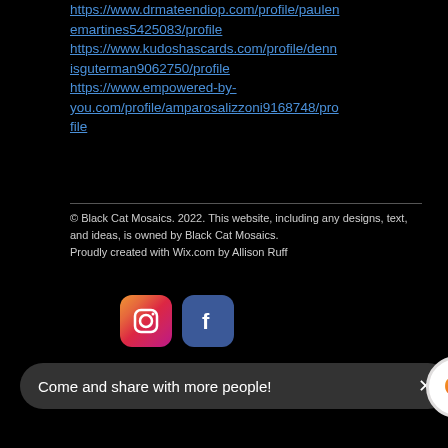https://www.drmateendiop.com/profile/paulenemartines5425083/profile
https://www.kudoshascards.com/profile/dennisguterman9062750/profile
https://www.empowered-by-you.com/profile/amparosalizzoni9168748/profile
© Black Cat Mosaics. 2022. This website, including any designs, text, and ideas, is owned by Black Cat Mosaics.
Proudly created with Wix.com by Allison Ruff
[Figure (logo): Instagram logo icon - pink/red gradient rounded square]
[Figure (logo): Facebook logo icon - blue rounded square with f]
Come and share with more people! ×
[Figure (logo): Grammarly circular logo icon - orange and red G]